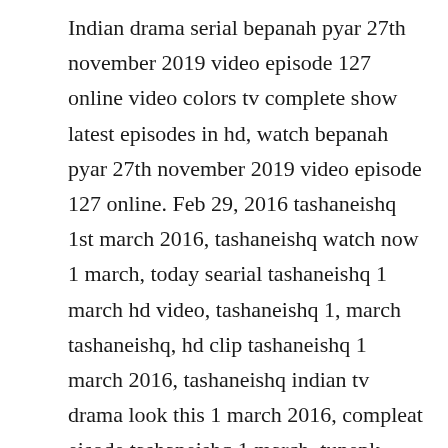Indian drama serial bepanah pyar 27th november 2019 video episode 127 online video colors tv complete show latest episodes in hd, watch bepanah pyar 27th november 2019 video episode 127 online. Feb 29, 2016 tashaneishq 1st march 2016, tashaneishq watch now 1 march, today searial tashaneishq 1 march hd video, tashaneishq 1, march tashaneishq, hd clip tashaneishq 1 march 2016, tashaneishq indian tv drama look this 1 march 2016, compleat eisode tashaneishq 1 march, tunepk dailymotion facebook and many messenger share this, watch High